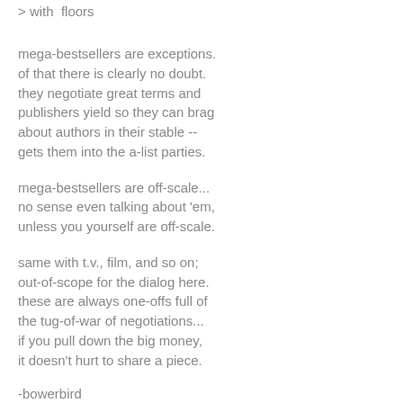> with  floors
mega-bestsellers are exceptions.
of that there is clearly no doubt.
they negotiate great terms and
publishers yield so they can brag
about authors in their stable --
gets them into the a-list parties.
mega-bestsellers are off-scale...
no sense even talking about 'em,
unless you yourself are off-scale.
same with t.v., film, and so on;
out-of-scope for the dialog here.
these are always one-offs full of
the tug-of-war of negotiations...
if you pull down the big money,
it doesn't hurt to share a piece.
-bowerbird
Reply